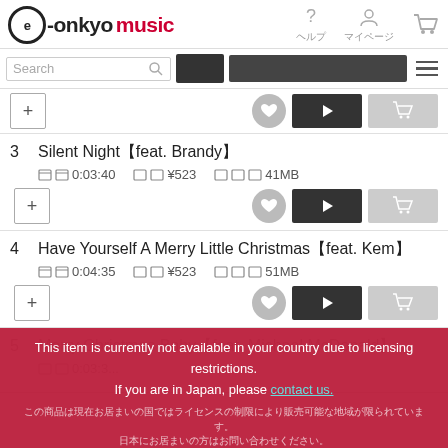e-onkyo music
Search
3 Silent Night[feat. Brandy] 時間 0:03:40 価格 ¥523 容量 41MB
4 Have Yourself A Merry Little Christmas[feat. Kem] 時間 0:04:35 価格 ¥523 容量 51MB
5 Merry Christmas Baby[feat. Michael McDonald]... 時間 0:03:3...
This item is currently not available in your country due to licensing restrictions. If you are in Japan, please contact us.